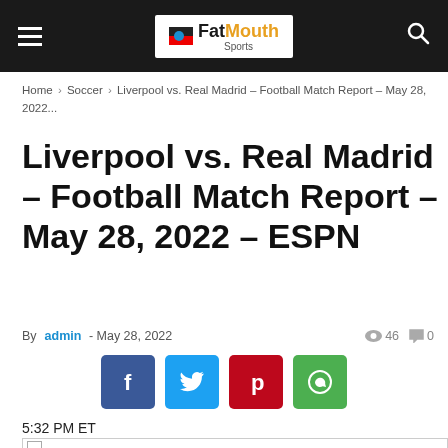FatMouth Sports — navigation header with hamburger menu and search icon
Home › Soccer › Liverpool vs. Real Madrid – Football Match Report – May 28, 2022...
Liverpool vs. Real Madrid – Football Match Report – May 28, 2022 – ESPN
By admin - May 28, 2022  👁 46  💬 0
[Figure (infographic): Social share buttons: Facebook (blue), Twitter (light blue), Pinterest (red), WhatsApp (green)]
5:32 PM ET